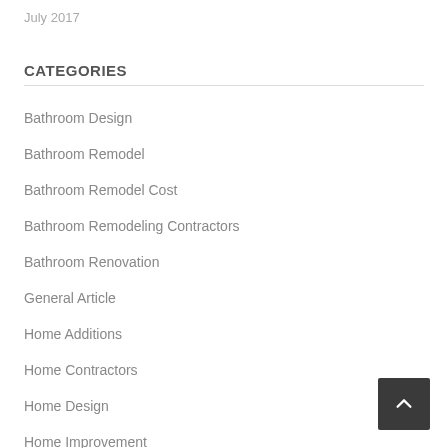July 2017
CATEGORIES
Bathroom Design
Bathroom Remodel
Bathroom Remodel Cost
Bathroom Remodeling Contractors
Bathroom Renovation
General Article
Home Additions
Home Contractors
Home Design
Home Improvement
Home Improvement Budget